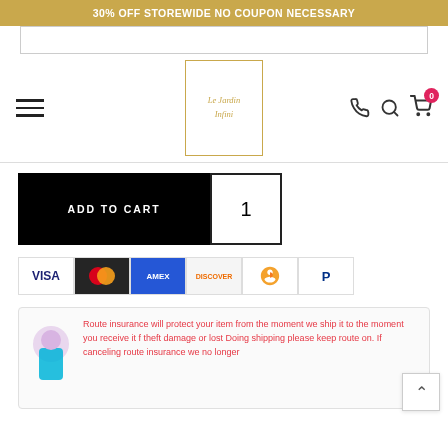30% OFF STOREWIDE NO COUPON NECESSARY
[Figure (logo): Le Jardin Infini ornate gold logo with decorative border]
ADD TO CART  1
[Figure (infographic): Payment method icons: VISA, Mastercard, AMEX, Discover, Apple Pay, PayPal]
Route insurance will protect your item from the moment we ship it to the moment you receive it from theft damage or lost Doing shipping please keep route on. If canceling route insurance we no longer